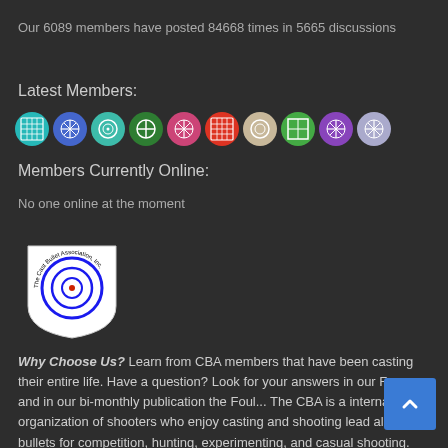Our 6089 members have posted 84668 times in 5665 discussions
Latest Members:
[Figure (illustration): Row of 10 circular avatar icons in various colors (teal, blue, green, dark green, red/pink, red, beige, green, purple, lavender)]
Members Currently Online:
No one online at the moment
[Figure (logo): Cast Bullet Association Inc. shield-shaped logo with blue bullseye target and circular text]
Why Choose Us? Learn from CBA members that have been casting their entire life. Have a question? Look for your answers in our Forum and in our bi-monthly publication the Foul... The CBA is a international organization of shooters who enjoy casting and shooting lead alloy bullets for competition, hunting, experimenting, and casual shooting.